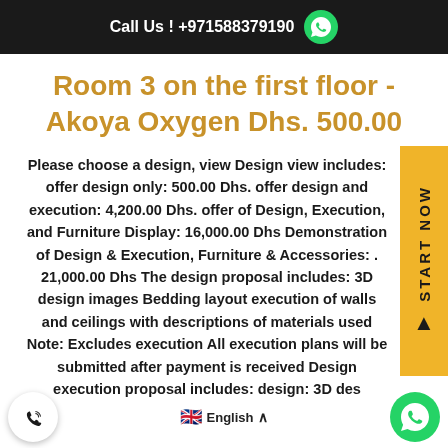Call Us ! +971588379190
Room 3 on the first floor - Akoya Oxygen Dhs. 500.00
Please choose a design, view Design view includes: offer design only: 500.00 Dhs. offer design and execution: 4,200.00 Dhs. offer of Design, Execution, and Furniture Display: 16,000.00 Dhs Demonstration of Design & Execution, Furniture & Accessories: . 21,000.00 Dhs The design proposal includes: 3D design images Bedding layout execution of walls and ceilings with descriptions of materials used Note: Excludes execution All execution plans will be submitted after payment is received Design execution proposal includes: design: 3D des